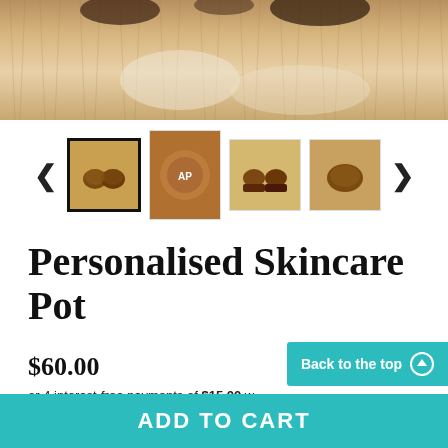[Figure (photo): Close-up photo of fur or animal textured background, tan/cream colored]
[Figure (photo): Thumbnail carousel showing 4 small product images of skincare pots, with left and right navigation arrows. First thumbnail is selected with black border.]
Personalised Skincare Pot
$60.00
or 4 interest-free payments of $15.00 w
Tax included.
Flat Rate Shipping - $8.30
Back to the top
ADD TO CART